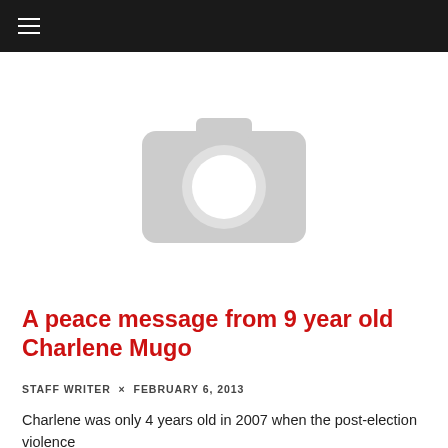☰
[Figure (photo): Gray placeholder camera icon image on white background]
A peace message from 9 year old Charlene Mugo
STAFF WRITER × FEBRUARY 6, 2013
Charlene was only 4 years old in 2007 when the post-election violence